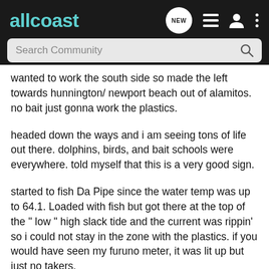allcoast
wanted to work the south side so made the left towards hunnington/ newport beach out of alamitos. no bait just gonna work the plastics.
headed down the ways and i am seeing tons of life out there. dolphins, birds, and bait schools were everywhere. told myself that this is a very good sign.
started to fish Da Pipe since the water temp was up to 64.1. Loaded with fish but got there at the top of the " low " high slack tide and the current was rippin' so i could not stay in the zone with the plastics. if you would have seen my furuno meter, it was lit up but just no takers.
made the bad decision to head out to the triple rigs to get my 2